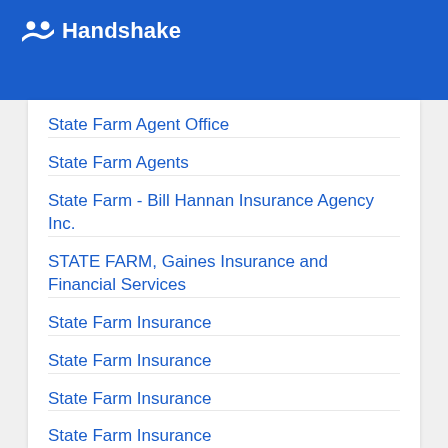Handshake
State Farm Agent Office
State Farm Agents
State Farm - Bill Hannan Insurance Agency Inc.
STATE FARM, Gaines Insurance and Financial Services
State Farm Insurance
State Farm Insurance
State Farm Insurance
State Farm Insurance
State Farm Insurance
State Farm Insurance